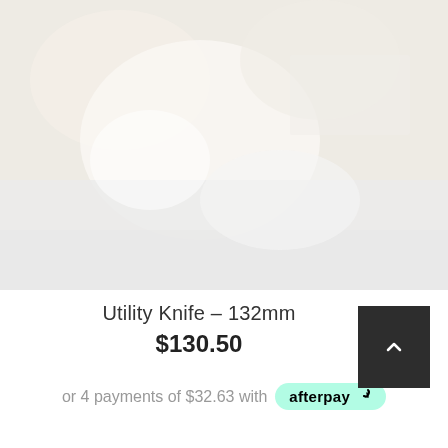[Figure (photo): Faded/washed out product photo of a utility knife on a light background, mostly white/cream tones]
Utility Knife – 132mm
$130.50
or 4 payments of $32.63 with afterpay